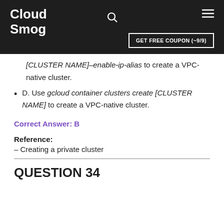Cloud Smog  GET FREE COUPON (~9/9)
[CLUSTER NAME]–enable-ip-alias to create a VPC-native cluster.
D. Use gcloud container clusters create [CLUSTER NAME] to create a VPC-native cluster.
Correct Answer: B
Reference:
– Creating a private cluster
QUESTION 34